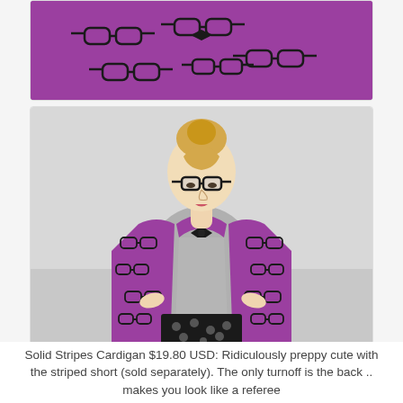[Figure (photo): Close-up of a purple cardigan with black glasses/spectacles print pattern, top portion of the garment visible.]
[Figure (photo): A young blonde woman wearing glasses and a purple cardigan with a black glasses print pattern, open over a grey t-shirt, paired with black polka-dot pants. She is looking downward.]
Solid Stripes Cardigan $19.80 USD: Ridiculously preppy cute with the striped short (sold separately). The only turnoff is the back .. makes you look like a referee